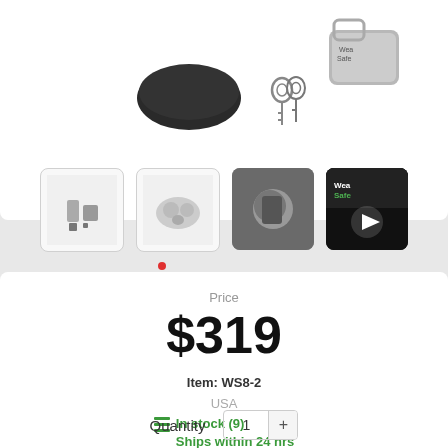[Figure (photo): Product image area showing hitch lock hardware with rubber component and keys against white background]
[Figure (photo): Thumbnail 1: hitch lock hardware components on white background]
[Figure (photo): Thumbnail 2: multiple metal hitch lock parts spread out]
[Figure (photo): Thumbnail 3: close-up of installed hitch lock in use]
[Figure (photo): Thumbnail 4: video thumbnail with play button, WeatherGuard brand]
Price
$319
Item: WS8-2
USA
In stock (9)
Ships within 24 hrs
Quantity  1